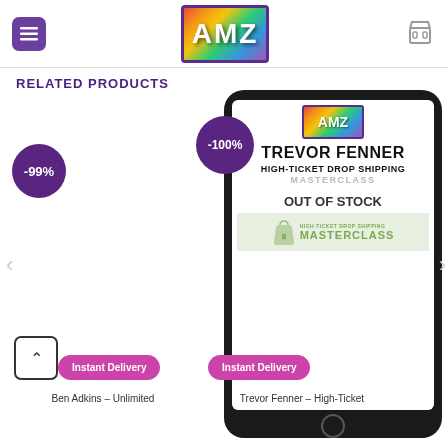[Figure (logo): AMZ store logo - colorful patchwork background with AMZ text in white bold letters, purple border]
RELATED PRODUCTS
[Figure (illustration): Left product with -99% purple badge circle]
[Figure (illustration): Tablet mockup showing Trevor Fenner High-Ticket Drop Shipping Masterclass product with -100% badge, OUT OF STOCK overlay, and AMZ logo at top]
Instant Delivery
Instant Delivery
Ben Adkins – Unlimited
Trevor Fenner – High-Ticket